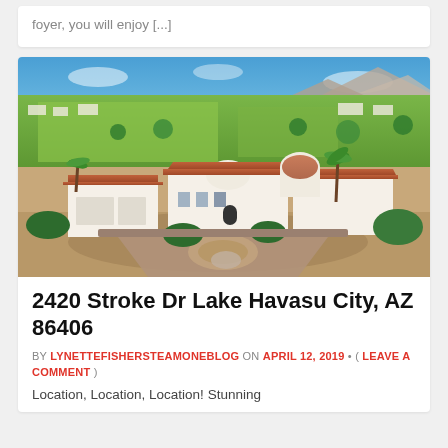foyer, you will enjoy [...]
[Figure (photo): Aerial drone photo of a large white Mediterranean-style home with terracotta tile roofs, a three-car garage, and landscaped grounds. A golf course is visible in the background along with mountains and blue sky.]
2420 Stroke Dr Lake Havasu City, AZ 86406
BY LYNETTEFISHERSTEAMONEBLOG ON APRIL 12, 2019 • ( LEAVE A COMMENT )
Location, Location, Location! Stunning